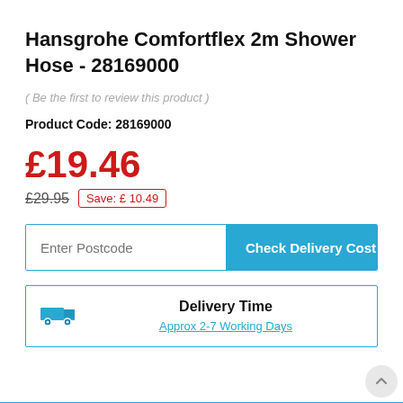Hansgrohe Comfortflex 2m Shower Hose - 28169000
( Be the first to review this product )
Product Code: 28169000
£19.46
£29.95  Save: £ 10.49
Enter Postcode  Check Delivery Cost
Delivery Time
Approx 2-7 Working Days